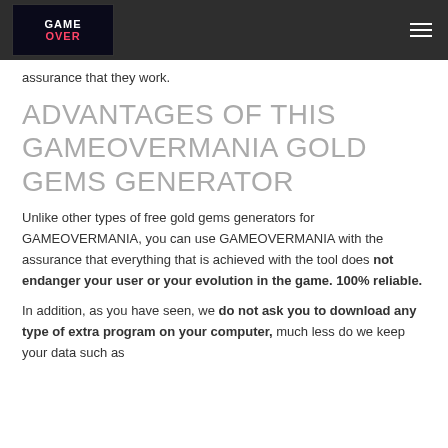GAME OVER
assurance that they work.
ADVANTAGES OF THIS GAMEOVERMANIA GOLD GEMS GENERATOR
Unlike other types of free gold gems generators for GAMEOVERMANIA, you can use GAMEOVERMANIA with the assurance that everything that is achieved with the tool does not endanger your user or your evolution in the game. 100% reliable.
In addition, as you have seen, we do not ask you to download any type of extra program on your computer, much less do we keep your data such as